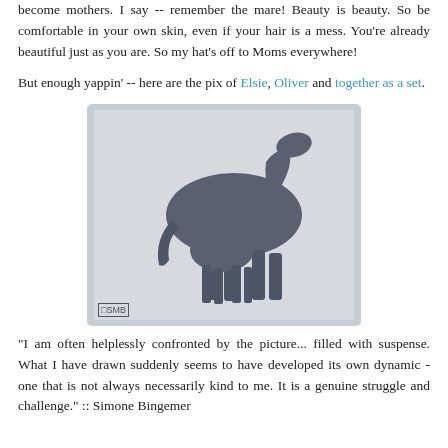become mothers. I say -- remember the mare! Beauty is beauty. So be comfortable in your own skin, even if your hair is a mess. You're already beautiful just as you are. So my hat's off to Moms everywhere!
But enough yappin' -- here are the pix of Elsie, Oliver and together as a set.
[Figure (photo): Photograph of two dark grey horse figurines — a large mare and a small foal standing beside her. The figurines are detailed sculptures on a light background. A watermark reading ESMB appears in the lower left corner.]
"I am often helplessly confronted by the picture... filled with suspense. What I have drawn suddenly seems to have developed its own dynamic - one that is not always necessarily kind to me. It is a genuine struggle and challenge." :: Simone Bingemer